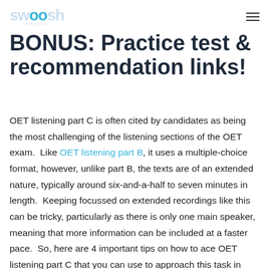swoosh english
BONUS: Practice test & recommendation links!
OET listening part C is often cited by candidates as being the most challenging of the listening sections of the OET exam.  Like OET listening part B, it uses a multiple-choice format, however, unlike part B, the texts are of an extended nature, typically around six-and-a-half to seven minutes in length.  Keeping focussed on extended recordings like this can be tricky, particularly as there is only one main speaker, meaning that more information can be included at a faster pace.  So, here are 4 important tips on how to ace OET listening part C that you can use to approach this task in order to